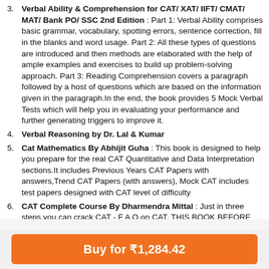3. Verbal Ability & Comprehension for CAT/ XAT/ IIFT/ CMAT/ MAT/ Bank PO/ SSC 2nd Edition : Part 1: Verbal Ability comprises basic grammar, vocabulary, spotting errors, sentence correction, fill in the blanks and word usage. Part 2: All these types of questions are introduced and then methods are elaborated with the help of ample examples and exercises to build up problem-solving approach. Part 3: Reading Comprehension covers a paragraph followed by a host of questions which are based on the information given in the paragraph.In the end, the book provides 5 Mock Verbal Tests which will help you in evaluating your performance and further generating triggers to improve it.
4. Verbal Reasoning by Dr. Lal & Kumar
5. Cat Mathematics By Abhijit Guha : This book is designed to help you prepare for the real CAT Quantitative and Data Interpretation sections.It includes Previous Years CAT Papers with answers,Trend CAT Papers (with answers), Mock CAT includes test papers designed with CAT level of difficulty
6. CAT Complete Course By Dharmendra Mittal : Just in three steps you can crack CAT - F A Q on CAT, THIS BOOK BEFORE CAT – Why ? , How to use PAT Technique To crack CAT ? ,Examination Tips,More than 3000 questions,All you want to know about CAT,2 Mock Test on CAT patterns
Buy for ₹1,284.42